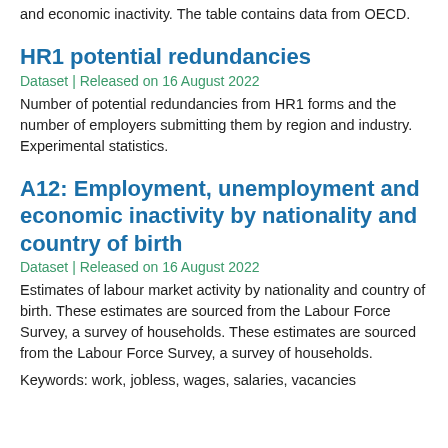and economic inactivity. The table contains data from OECD.
HR1 potential redundancies
Dataset | Released on 16 August 2022
Number of potential redundancies from HR1 forms and the number of employers submitting them by region and industry. Experimental statistics.
A12: Employment, unemployment and economic inactivity by nationality and country of birth
Dataset | Released on 16 August 2022
Estimates of labour market activity by nationality and country of birth. These estimates are sourced from the Labour Force Survey, a survey of households. These estimates are sourced from the Labour Force Survey, a survey of households.
Keywords: work, jobless, wages, salaries, vacancies